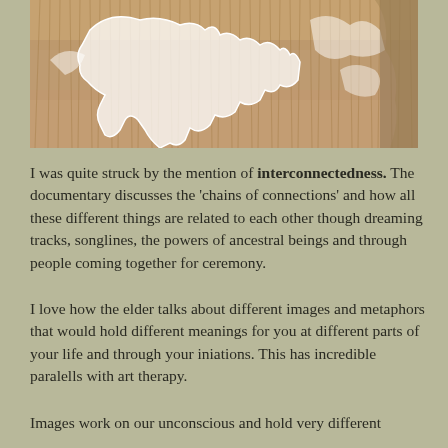[Figure (photo): Aerial or close-up photograph of dry grassy/reedy landscape with white frost or ice patterns forming organic shapes, possibly showing an animal form or landscape features. Warm beige and tan tones with white overlay patterns.]
I was quite struck by the mention of interconnectedness. The documentary discusses the 'chains of connections' and how all these different things are related to each other though dreaming tracks, songlines, the powers of ancestral beings and through people coming together for ceremony.
I love how the elder talks about different images and metaphors that would hold different meanings for you at different parts of your life and through your iniations. This has incredible paralells with art therapy.
Images work on our unconscious and hold very different